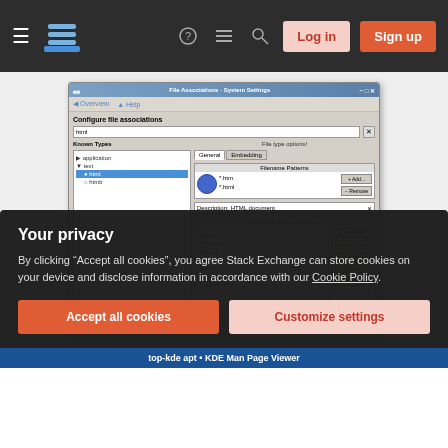[Figure (screenshot): Stack Exchange website navigation bar with hamburger menu, logo, help/chat/search icons, Log in and Sign up buttons on dark background]
[Figure (screenshot): KDE System Settings - File Associations dialog showing Configure file associations panel with html selected under text category, showing filename patterns *.htm and *.html, description HTML document, and application preference order including Ooono, KcrcLero, Raccro, Dreloc, IceTo, Kge, Caligo Author]
Your privacy
By clicking “Accept all cookies”, you agree Stack Exchange can store cookies on your device and disclose information in accordance with our Cookie Policy.
Accept all cookies
Customize settings
top-kde apt • KDE Man Page Viewer